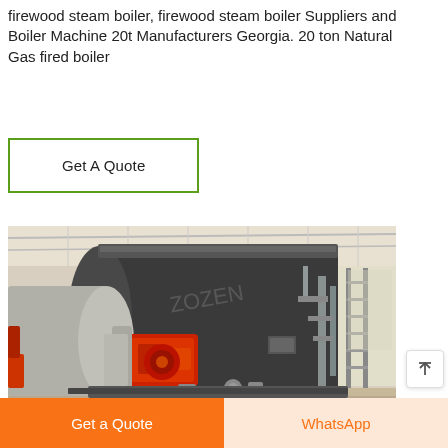firewood steam boiler, firewood steam boiler Suppliers and Boiler Machine 20t Manufacturers Georgia. 20 ton Natural Gas fired boiler
Get A Quote
[Figure (photo): Industrial steam boiler installed in a large warehouse/factory setting. A large dark gray cylindrical boiler dominates the center with a red burner unit attached on the left side. Adjacent boiler equipment visible on the right. The interior has a white metal roof structure.]
Get a Quote
WhatsApp